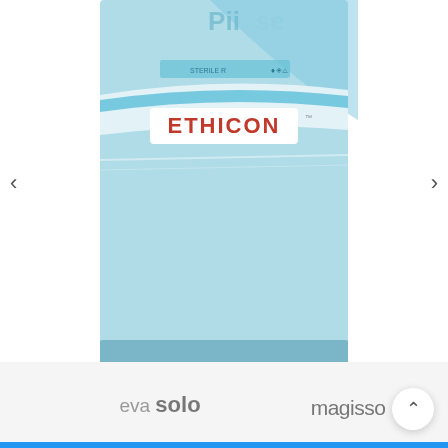[Figure (photo): Photo of Ethicon Sutupak Silk Sutures packaging box with light blue/teal color and the ETHICON brand name printed in red on a white label. The word 'Plus' is partially visible at the top.]
Ethicon Sutupak Silk Sutures USP 0, Needleless – SW214
₹708.00 ₹601.80
[Figure (logo): eva solo brand logo in grey text]
[Figure (logo): magisso brand logo in grey text]